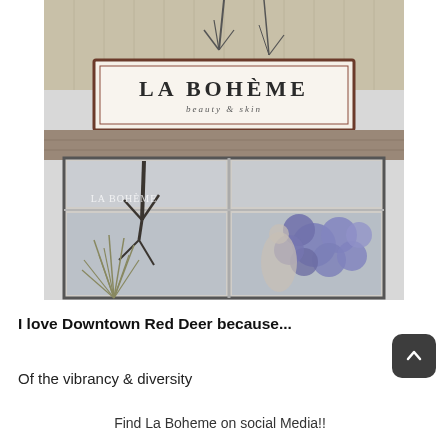[Figure (photo): Exterior storefront photo of La Boheme Beauty & Skin salon. A white sign with the text 'LA BOHEME Beauty & Skin' is mounted on the building facade. Large windows below show blue balloons and decorative plants reflected in the glass.]
I love Downtown Red Deer because...
Of the vibrancy & diversity
Find La Boheme on social Media!!